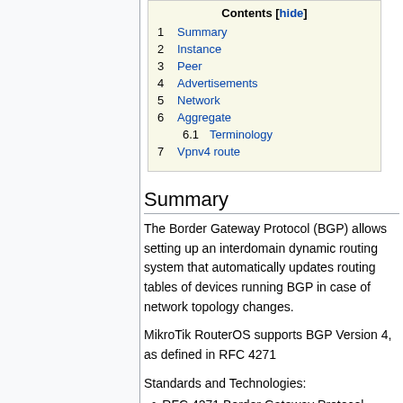Contents [hide]
1 Summary
2 Instance
3 Peer
4 Advertisements
5 Network
6 Aggregate
6.1 Terminology
7 Vpnv4 route
Summary
The Border Gateway Protocol (BGP) allows setting up an interdomain dynamic routing system that automatically updates routing tables of devices running BGP in case of network topology changes.
MikroTik RouterOS supports BGP Version 4, as defined in RFC 4271
Standards and Technologies:
RFC 4271 Border Gateway Protocol